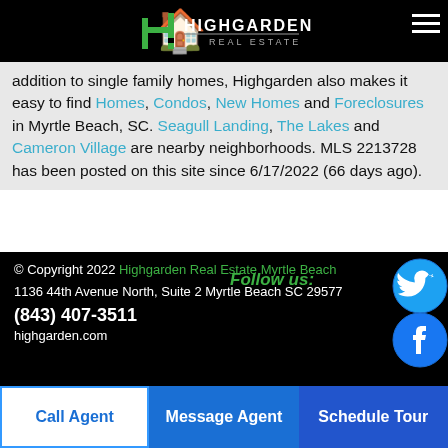Highgarden Real Estate
addition to single family homes, Highgarden also makes it easy to find Homes, Condos, New Homes and Foreclosures in Myrtle Beach, SC. Seagull Landing, The Lakes and Cameron Village are nearby neighborhoods. MLS 2213728 has been posted on this site since 6/17/2022 (66 days ago).
© Copyright 2022 Highgarden Real Estate Myrtle Beach
1136 44th Avenue North, Suite 2 Myrtle Beach SC 29577
(843) 407-3511
highgarden.com
Follow us:
Call Agent | Message Agent | Schedule Tour